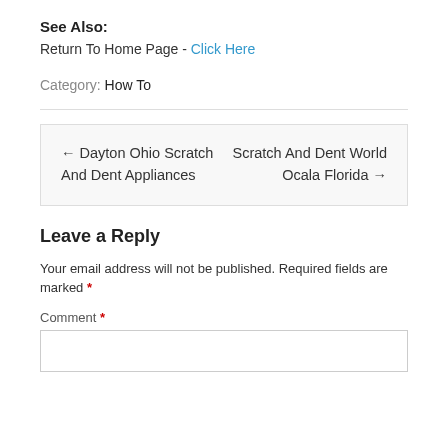See Also:
Return To Home Page - Click Here
Category: How To
← Dayton Ohio Scratch And Dent Appliances    Scratch And Dent World Ocala Florida →
Leave a Reply
Your email address will not be published. Required fields are marked *
Comment *